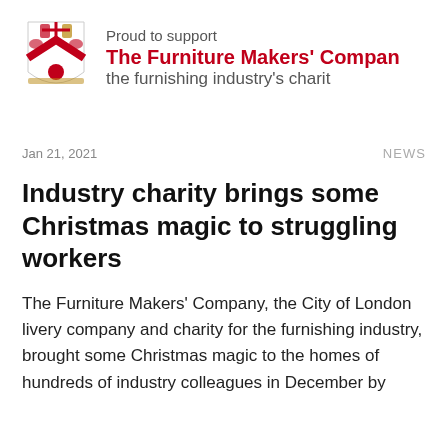[Figure (logo): Coat of arms / heraldic crest logo for The Furniture Makers' Company alongside text: 'Proud to support The Furniture Makers' Company the furnishing industry's charity']
Jan 21, 2021
NEWS
Industry charity brings some Christmas magic to struggling workers
The Furniture Makers' Company, the City of London livery company and charity for the furnishing industry, brought some Christmas magic to the homes of hundreds of industry colleagues in December by